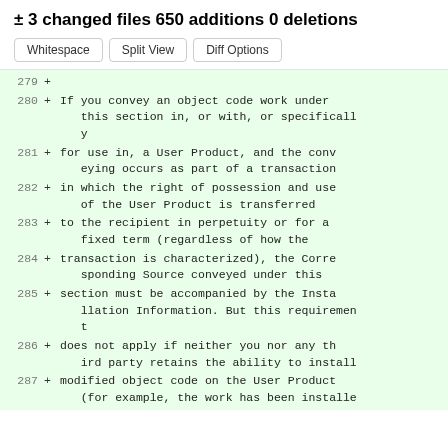± 3 changed files 650 additions 0 deletions
Whitespace  Split View  Diff Options
279 +
280 + If you convey an object code work under this section in, or with, or specifically
281 + for use in, a User Product, and the conveying occurs as part of a transaction
282 + in which the right of possession and use of the User Product is transferred
283 + to the recipient in perpetuity or for a fixed term (regardless of how the
284 + transaction is characterized), the Corresponding Source conveyed under this
285 + section must be accompanied by the Installation Information. But this requirement
286 + does not apply if neither you nor any third party retains the ability to install
287 + modified object code on the User Product (for example, the work has been installe